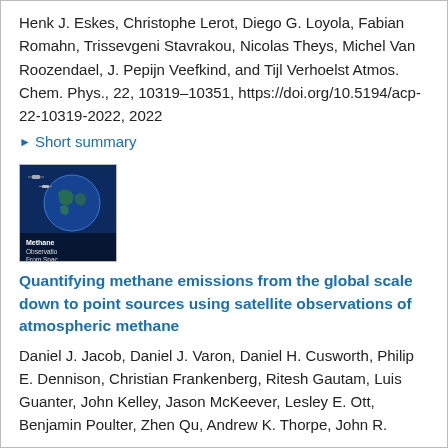Henk J. Eskes, Christophe Lerot, Diego G. Loyola, Fabian Romahn, Trissevgeni Stavrakou, Nicolas Theys, Michel Van Roozendael, J. Pepijn Veefkind, and Tijl Verhoelst Atmos. Chem. Phys., 22, 10319–10351, https://doi.org/10.5194/acp-22-10319-2022, 2022
▶ Short summary
[Figure (photo): Thumbnail image of a book or report cover titled 'Methane Observations From Space' showing a dark blue background with satellite and Earth imagery.]
Quantifying methane emissions from the global scale down to point sources using satellite observations of atmospheric methane
Daniel J. Jacob, Daniel J. Varon, Daniel H. Cusworth, Philip E. Dennison, Christian Frankenberg, Ritesh Gautam, Luis Guanter, John Kelley, Jason McKeever, Lesley E. Ott, Benjamin Poulter, Zhen Qu, Andrew K. Thorpe, John R.